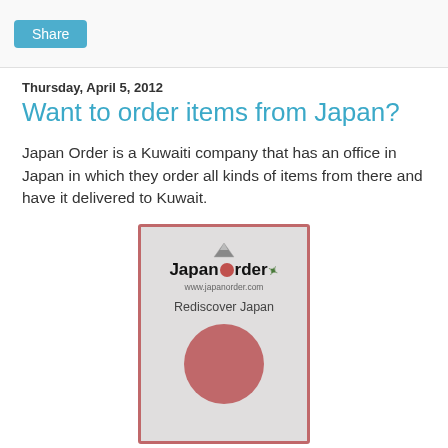Share
Thursday, April 5, 2012
Want to order items from Japan?
Japan Order is a Kuwaiti company that has an office in Japan in which they order all kinds of items from there and have it delivered to Kuwait.
[Figure (photo): Japan Order company card/logo showing the Japan Order brand name with mountain logo, website www.japanorder.com, tagline 'Rediscover Japan', and a red circle resembling the Japanese flag, all with a reddish-pink border on a gray textured background.]